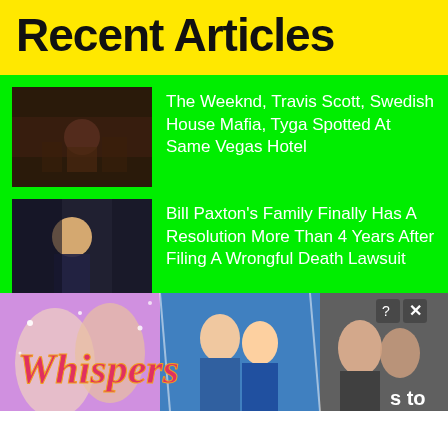Recent Articles
The Weeknd, Travis Scott, Swedish House Mafia, Tyga Spotted At Same Vegas Hotel
Bill Paxton's Family Finally Has A Resolution More Than 4 Years After Filing A Wrongful Death Lawsuit
Marvel Legends Retro Johnny Blaze Ghost Rider Revealed!
[Figure (illustration): Whispers advertisement banner with romantic couple imagery and 'Whispers' stylized text]